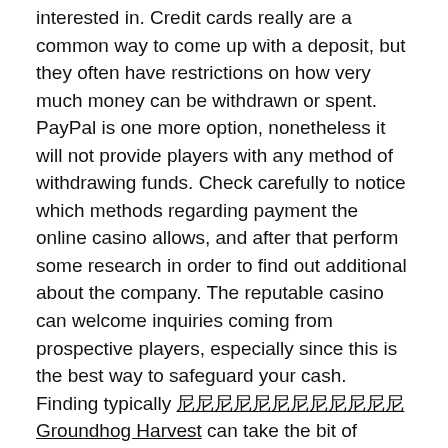interested in. Credit cards really are a common way to come up with a deposit, but they often have restrictions on how very much money can be withdrawn or spent. PayPal is one more option, nonetheless it will not provide players with any method of withdrawing funds. Check carefully to notice which methods regarding payment the online casino allows, and after that perform some research in order to find out additional about the company. The reputable casino can welcome inquiries coming from prospective players, especially since this is the best way to safeguard your cash. Finding typically [link text] Groundhog Harvest can take the bit of exploration, but the benefits can be worthwhile.
Leave a Reply